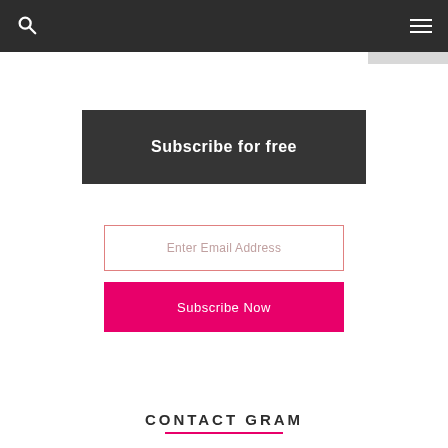Navigation bar with search and menu icons
Subscribe for free
Enter Email Address
Subscribe Now
CONTACT GRAM